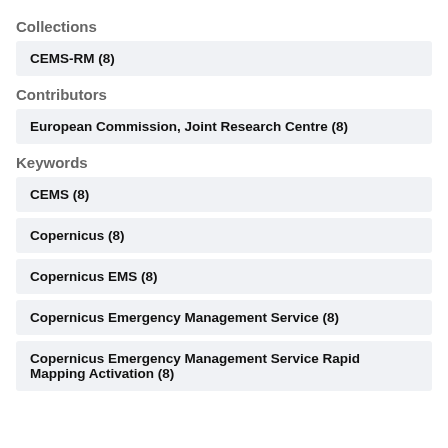Collections
CEMS-RM (8)
Contributors
European Commission, Joint Research Centre (8)
Keywords
CEMS (8)
Copernicus (8)
Copernicus EMS (8)
Copernicus Emergency Management Service (8)
Copernicus Emergency Management Service Rapid Mapping Activation (8)